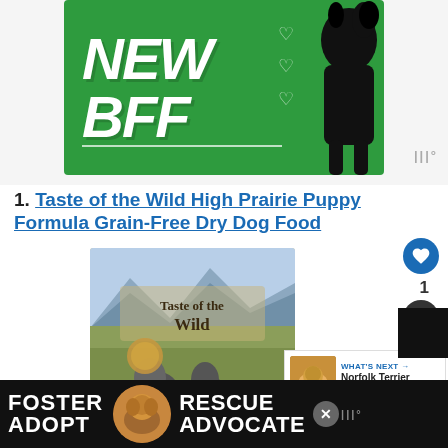[Figure (illustration): Green advertisement banner with white bold italic text 'NEW BFF' with heart outlines and a black dog silhouette on the right]
1. Taste of the Wild High Prairie Puppy Formula Grain-Free Dry Dog Food
[Figure (photo): Product image of Taste of the Wild dog food bag showing wolves in a prairie landscape with mountains]
WHAT'S NEXT → Norfolk Terrier Dog Breed...
[Figure (illustration): Bottom black banner advertisement with text FOSTER ADOPT RESCUE ADVOCATE with a dog image]